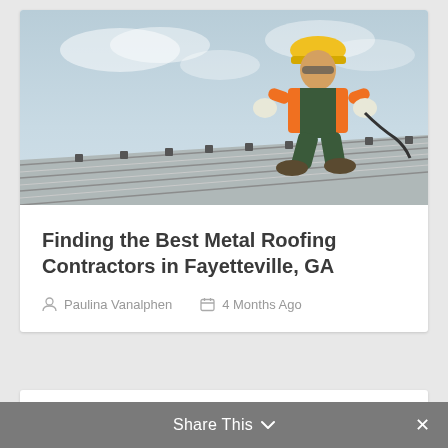[Figure (photo): A construction worker wearing an orange safety vest, green jumpsuit, white gloves, and yellow hard hat, crouching on a metal corrugated roof while working with a tool.]
Finding the Best Metal Roofing Contractors in Fayetteville, GA
Paulina Vanalphen   4 Months Ago
Share This